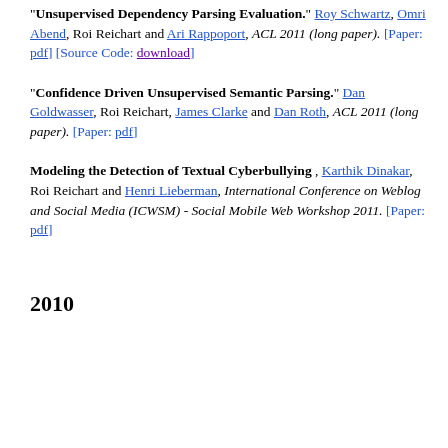"Unsupervised Dependency Parsing Evaluation." Roy Schwartz, Omri Abend, Roi Reichart and Ari Rappoport, ACL 2011 (long paper). [Paper: pdf] [Source Code: download]
"Confidence Driven Unsupervised Semantic Parsing." Dan Goldwasser, Roi Reichart, James Clarke and Dan Roth, ACL 2011 (long paper). [Paper: pdf]
Modeling the Detection of Textual Cyberbullying , Karthik Dinakar, Roi Reichart and Henri Lieberman, International Conference on Weblog and Social Media (ICWSM) - Social Mobile Web Workshop 2011. [Paper: pdf]
2010